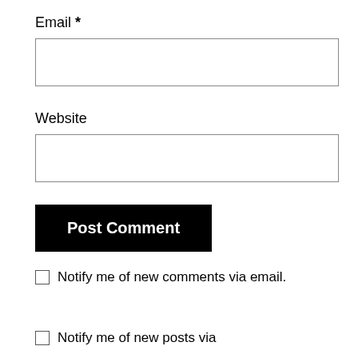Email *
[Figure (other): Empty text input field for Email]
Website
[Figure (other): Empty text input field for Website]
[Figure (other): Post Comment button, black background with white bold text]
Notify me of new comments via email.
Notify me of new posts via